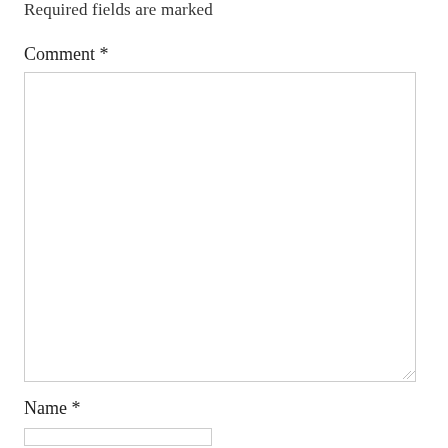Required fields are marked
Comment *
Name *